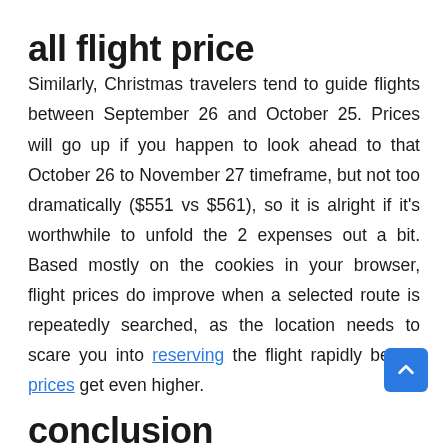all flight price
Similarly, Christmas travelers tend to guide flights between September 26 and October 25. Prices will go up if you happen to look ahead to that October 26 to November 27 timeframe, but not too dramatically ($551 vs $561), so it is alright if it’s worthwhile to unfold the 2 expenses out a bit. Based mostly on the cookies in your browser, flight prices do improve when a selected route is repeatedly searched, as the location needs to scare you into reserving the flight rapidly before prices get even higher.
conclusion